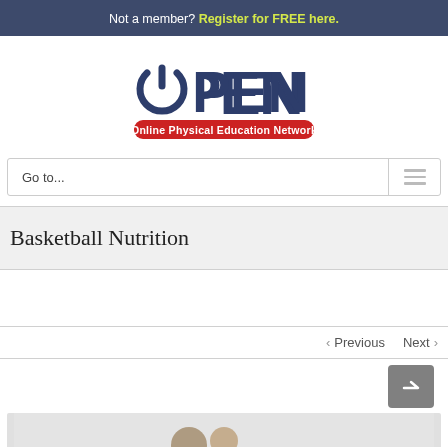Not a member? Register for FREE here.
[Figure (logo): OPEN - Online Physical Education Network logo with power button icon in dark navy blue and red banner subtitle]
Go to...
Basketball Nutrition
< Previous   Next >
[Figure (screenshot): Partial thumbnail image at bottom of page showing the beginning of Basketball Nutrition content]